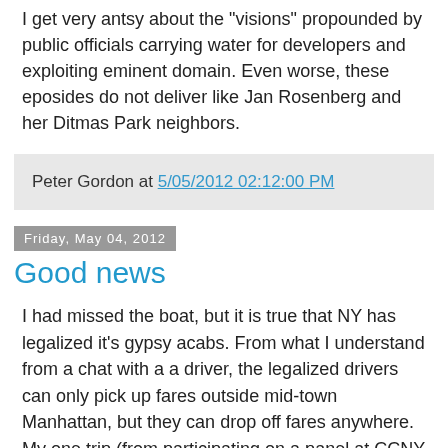I get very antsy about the "visions" propounded by public officials carrying water for developers and exploiting eminent domain. Even worse, these eposides do not deliver like Jan Rosenberg and her Ditmas Park neighbors.
Peter Gordon at 5/05/2012 02:12:00 PM
Friday, May 04, 2012
Good news
I had missed the boat, but it is true that NY has legalized it's gypsy acabs. From what I understand from a chat with a a driver, the legalized drivers can only pick up fares outside mid-town Manhattan, but they can drop off fares anywhere. My one trip (from participating on a panel at CCNY to my hotel in mid-town) with Harlem Car & Limousine was a flat fare. I have yet to find out more, but I like the demonstration effect. This is great ammunition for advocates of legalization in other cities. Will it spread? Stranger things have happened.